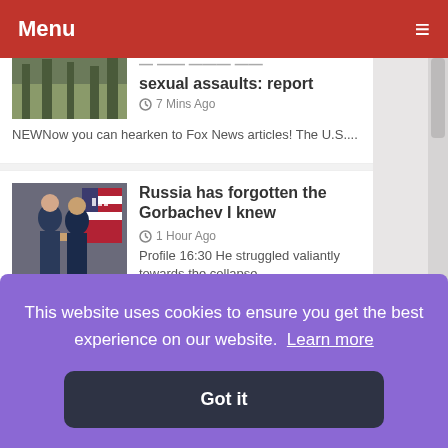Menu
sexual assaults: report
7 Mins Ago
NEWNow you can hearken to Fox News articles! The U.S....
Russia has forgotten the Gorbachev I knew
1 Hour Ago
Profile 16:30 He struggled valiantly towards the collapse
should the battlefield' –
This website uses cookies to ensure you get the best experience on our website.  Learn more
Got it